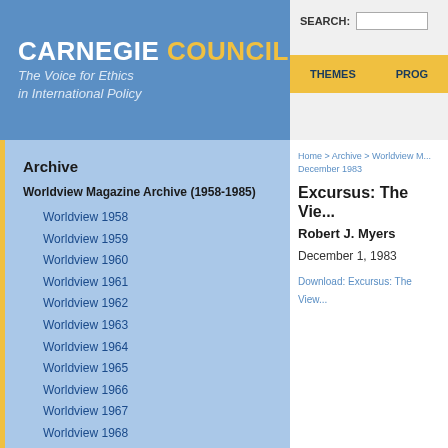CARNEGIE COUNCIL The Voice for Ethics in International Policy
SEARCH: THEMES PROG
Archive
Worldview Magazine Archive (1958-1985)
Worldview 1958
Worldview 1959
Worldview 1960
Worldview 1961
Worldview 1962
Worldview 1963
Worldview 1964
Worldview 1965
Worldview 1966
Worldview 1967
Worldview 1968
Worldview 1969
Worldview 1970
Worldview 1971
Home > Archive > Worldview M... December 1983
Excursus: The Vie...
Robert J. Myers
December 1, 1983
Download: Excursus: The View...